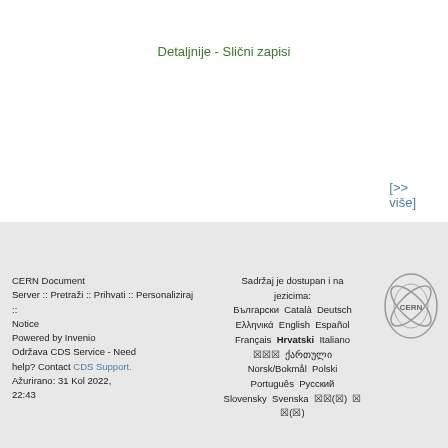Detaljnije - Slični zapisi
[>> više]
CERN Document Server :: Pretraži :: Prihvati :: Personaliziraj :: Sadržaj je dostupan i na jezicima: Български Català Deutsch Ελληνικά English Español Français Hrvatski Italiano ××× ქართული Norsk/Bokmål Polski Português Русский Slovensky Svenska ××(×) × ×(×) Notice Powered by Invenio Održava CDS Service - Need help? Contact CDS Support. Ažurirano: 31 Kol 2022, 22:43